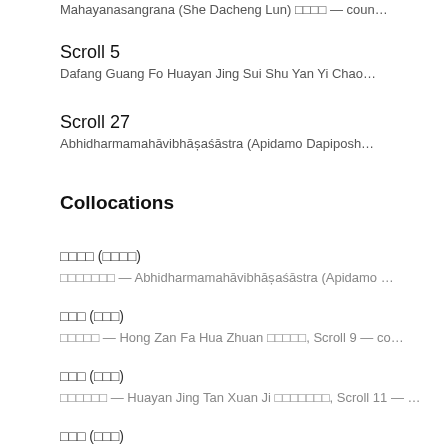Mahayanasangrana (She Dacheng Lun) □□□□ — coun…
Scroll 5
Dafang Guang Fo Huayan Jing Sui Shu Yan Yi Chao…
Scroll 27
Abhidharmamahāvibhāṣaśāstra (Apidamo Dapiposh…
Collocations
□□□□ (□□□□)
□□□□□□□ — Abhidharmamahāvibhāṣaśāstra (Apidamo …
□□□ (□□□)
□□□□□ — Hong Zan Fa Hua Zhuan □□□□□, Scroll 9 — co…
□□□ (□□□)
□□□□□□ — Huayan Jing Tan Xuan Ji □□□□□□□, Scroll 11 — …
□□□ (□□□)